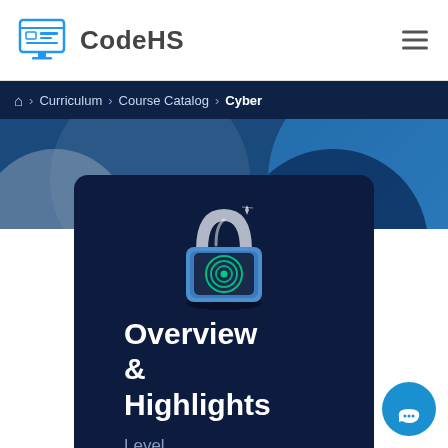[Figure (logo): CodeHS logo: computer monitor icon in blue outline style with grid lines, followed by bold text 'CodeHS']
CodeHS
Curriculum > Course Catalog > Cyber
[Figure (screenshot): CodeHS Cyber course page hero with dark blue background and decorative blue circles/arcs]
[Figure (illustration): A padlock icon with a fingerprint scanner on the front, styled in blue and silver tones]
Overview & Highlights
Level
High